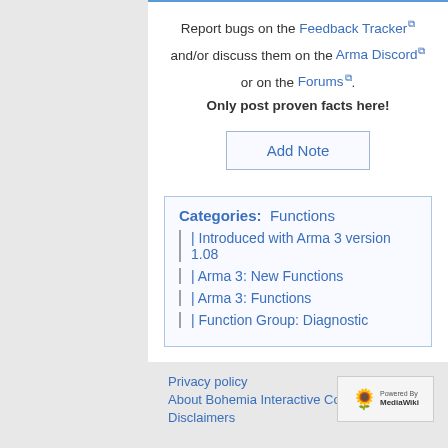Report bugs on the Feedback Tracker and/or discuss them on the Arma Discord or on the Forums. Only post proven facts here!
Add Note
Categories: Functions | Introduced with Arma 3 version 1.08 | Arma 3: New Functions | Arma 3: Functions | Function Group: Diagnostic
Privacy policy | About Bohemia Interactive Community | Disclaimers